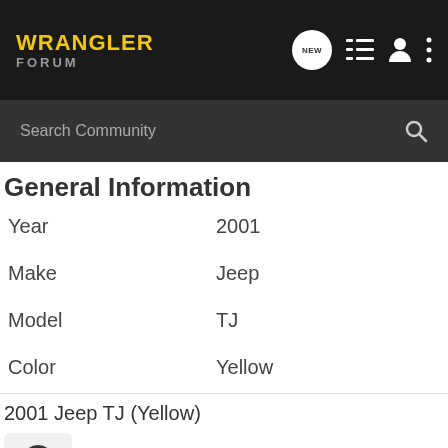WRANGLER FORUM
General Information
| Field | Value |
| --- | --- |
| Year | 2001 |
| Make | Jeep |
| Model | TJ |
| Color | Yellow |
2001 Jeep TJ (Yellow)
Share: